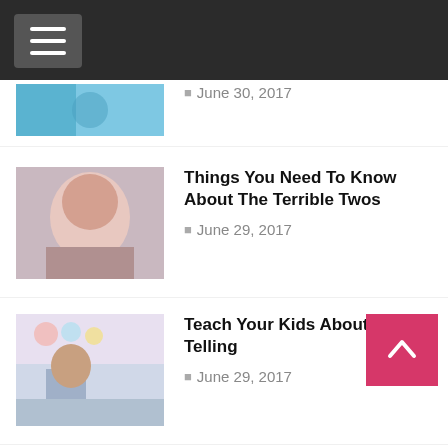Navigation menu header bar
June 30, 2017
Things You Need To Know About The Terrible Twos
June 29, 2017
Teach Your Kids About Time Telling
June 29, 2017
Surviving A Lonely Christmas Without Your Partner
June 28, 2017
Help Your Children Get Through A Single